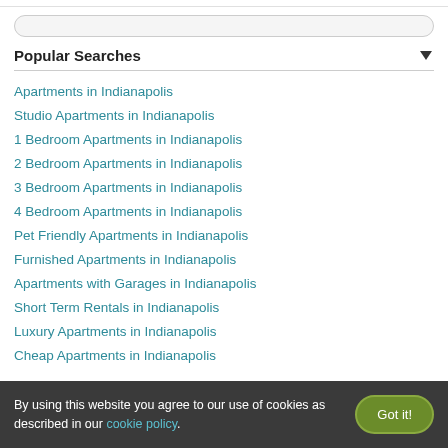Popular Searches
Apartments in Indianapolis
Studio Apartments in Indianapolis
1 Bedroom Apartments in Indianapolis
2 Bedroom Apartments in Indianapolis
3 Bedroom Apartments in Indianapolis
4 Bedroom Apartments in Indianapolis
Pet Friendly Apartments in Indianapolis
Furnished Apartments in Indianapolis
Apartments with Garages in Indianapolis
Short Term Rentals in Indianapolis
Luxury Apartments in Indianapolis
Cheap Apartments in Indianapolis
By using this website you agree to our use of cookies as described in our cookie policy.